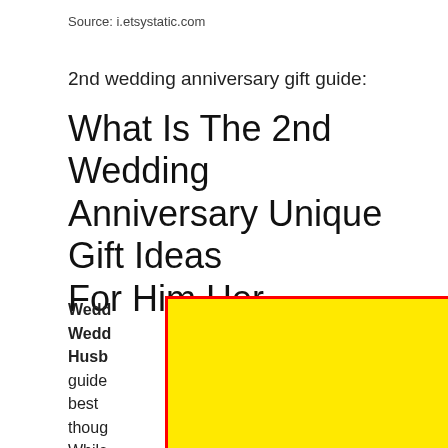Source: i.etsystatic.com
2nd wedding anniversary gift guide:
What Is The 2nd Wedding Anniversary Unique Gift Ideas For Him Her
[Figure (other): Red-bordered orange 'close' button overlay on title text]
[Figure (other): Large yellow rectangle with red border covering body text]
Wedding Anniversary Gifts For Husband ... Wedding Anniversary Gifts ... Husband ... guide ... the best ... h a though... While ... n come... big trip o... hat top layer of wedding cake—the second can